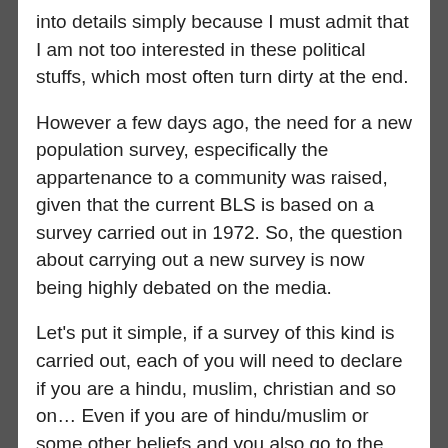into details simply because I must admit that I am not too interested in these political stuffs, which most often turn dirty at the end.
However a few days ago, the need for a new population survey, especifically the appartenance to a community was raised, given that the current BLS is based on a survey carried out in 1972. So, the question about carrying out a new survey is now being highly debated on the media.
Let's put it simple, if a survey of this kind is carried out, each of you will need to declare if you are a hindu, muslim, christian and so on… Even if you are of hindu/muslim or some other beliefs and you also go to the temple on sundays, you still be required to choose if you consider yourself as a christian or a hindu or a muslim or etc …